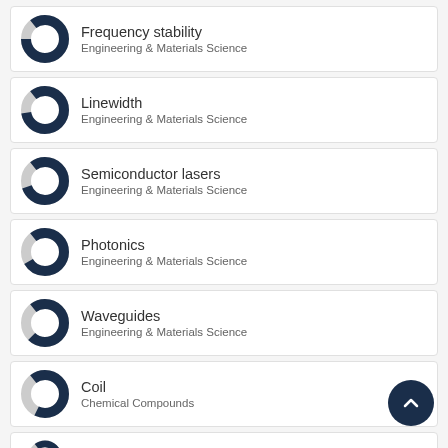Frequency stability
Engineering & Materials Science
Linewidth
Engineering & Materials Science
Semiconductor lasers
Engineering & Materials Science
Photonics
Engineering & Materials Science
Waveguides
Engineering & Materials Science
Coil
Chemical Compounds
Resonators